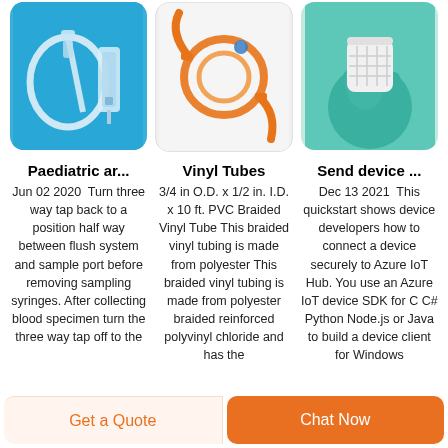[Figure (photo): Paediatric arterial line tubing set with syringe on blue background]
[Figure (photo): Orange braided vinyl tubes / IV tubing coiled on white background]
[Figure (photo): Gloved hand holding a white cylindrical medical device on teal background]
Paediatric ar...
Vinyl Tubes
Send device ...
Jun 02 2020  Turn three way tap back to a position half way between flush system and sample port before removing sampling syringes. After collecting blood specimen turn the three way tap off to the
3/4 in O.D. x 1/2 in. I.D. x 10 ft. PVC Braided Vinyl Tube This braided vinyl tubing is made from polyester This braided vinyl tubing is made from polyester braided reinforced polyvinyl chloride and has the
Dec 13 2021  This quickstart shows device developers how to connect a device securely to Azure IoT Hub. You use an Azure IoT device SDK for C C# Python Node.js or Java to build a device client for Windows
Get a Quote
Chat Now